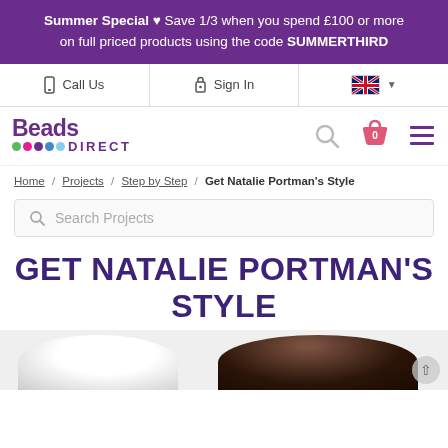Summer Special ♥  Save 1/3 when you spend £100 or more on full priced products using the code SUMMERTHIRD
[Figure (screenshot): Navigation bar with Call Us, Sign In, and UK flag dropdown]
[Figure (logo): Beads Direct logo with coloured dots]
Home / Projects / Step by Step / Get Natalie Portman's Style
Search Projects
GET NATALIE PORTMAN'S STYLE
[Figure (photo): Bottom portion of page showing partial images - a white rounded object on the left and dark hair on the right]